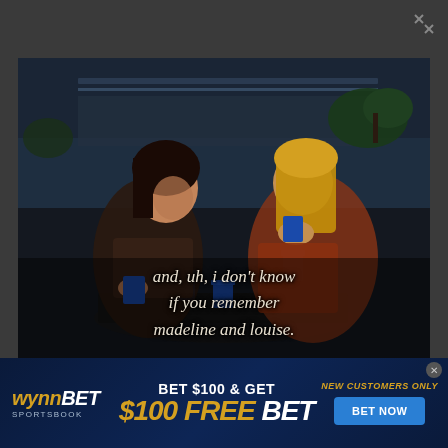[Figure (screenshot): TV show screenshot showing two young women sitting at a table, both holding blue plastic cups. The woman on the left has dark short hair, the woman on the right has long blonde hair and is drinking. They appear to be at an outdoor poolside setting. Subtitle text overlaid reads: 'and, uh, i don't know if you remember madeline and louise.']
and, uh, i don't know if you remember madeline and louise.
[Figure (screenshot): WynnBET sportsbook advertisement banner. Left: WynnBET Sportsbook logo in gold and white italic text. Center: 'BET $100 & GET' in white bold, '$100 FREE BET' in large gold and white bold italic. Right: 'NEW CUSTOMERS ONLY' in gold italic, blue 'BET NOW' button.]